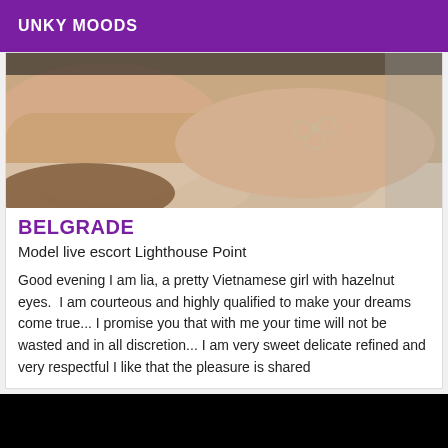UNKY MOODS
[Figure (photo): Close-up photo of a person's arm/leg with a bow tattoo outline, lying on white sheets]
BELGRADE
Model live escort Lighthouse Point
Good evening I am lia, a pretty Vietnamese girl with hazelnut eyes.  I am courteous and highly qualified to make your dreams come true... I promise you that with me your time will not be wasted and in all discretion... I am very sweet delicate refined and very respectful I like that the pleasure is shared
[Figure (photo): Black image, partial photo below the card]